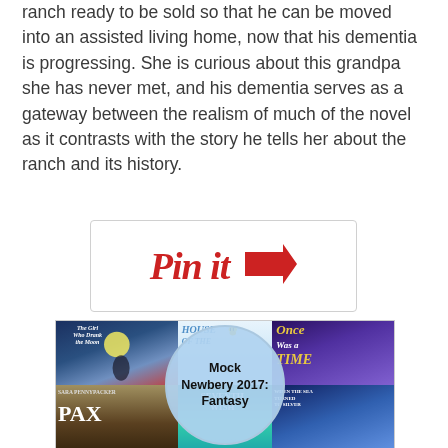ranch ready to be sold so that he can be moved into an assisted living home, now that his dementia is progressing. She is curious about this grandpa she has never met, and his dementia serves as a gateway between the realism of much of the novel as it contrasts with the story he tells her about the ranch and its history.
[Figure (screenshot): Pinterest 'Pin it' button with red cursive text and a red arrow icon, on a white card with light gray border]
[Figure (illustration): Collage of fantasy book covers for Mock Newbery 2017: Fantasy, including 'The Girl Who Drank the Moon', 'House of the...' (partially obscured), 'Once Was a Time', 'Pax', 'Seventh Wish', and 'When the Sea Turned to Silver'. A light blue circle in the center displays the text 'Mock Newbery 2017: Fantasy'.]